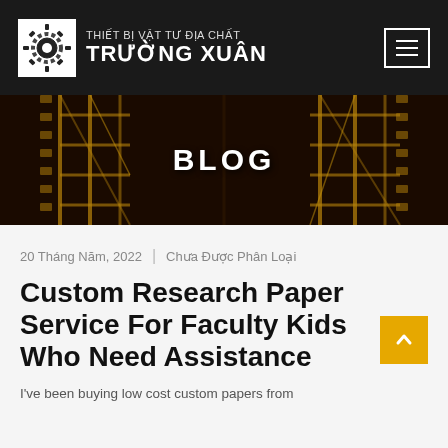THIẾT BỊ VẬT TƯ ĐỊA CHẤT TRƯỜNG XUÂN
[Figure (photo): Dark blog hero banner with golden structural scaffolding/trusses in the background and the word BLOG in large white bold text centered]
20 Tháng Năm, 2022  |  Chưa Được Phân Loại
Custom Research Paper Service For Faculty Kids Who Need Assistance
I've been buying low cost custom papers from